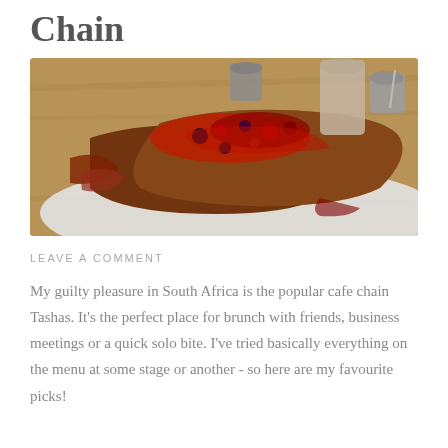Chain
[Figure (photo): Close-up food photo of French toast topped with mixed berry compote on a white plate, with a glass of milky drink and small gray condiment cups in the background on a wooden table]
LEAVE A COMMENT
My guilty pleasure in South Africa is the popular cafe chain Tashas. It's the perfect place for brunch with friends, business meetings or a quick solo bite. I’ve tried basically everything on the menu at some stage or another - so here are my favourite picks!